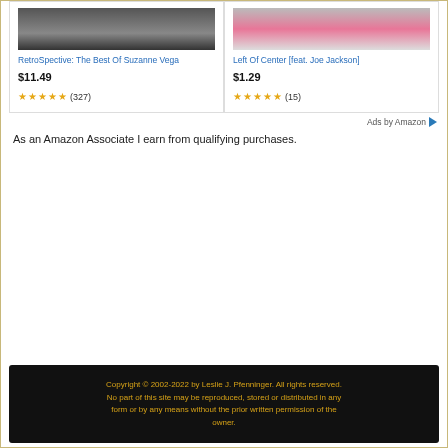[Figure (photo): Album cover image for RetroSpective: The Best of Suzanne Vega – dark toned photo]
RetroSpective: The Best Of Suzanne Vega
$11.49
★★★★★ (327)
[Figure (photo): Album cover image for Left Of Center feat. Joe Jackson – pink toned photo]
Left Of Center [feat. Joe Jackson]
$1.29
★★★★★ (15)
Ads by Amazon
As an Amazon Associate I earn from qualifying purchases.
Copyright © 2002-2022 by Leslie J. Pfenninger. All rights reserved. No part of this site may be reproduced, stored or distributed in any form or by any means without the prior written permission of the owner.